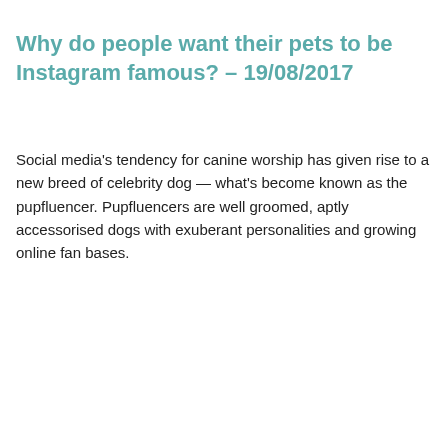Why do people want their pets to be Instagram famous? – 19/08/2017
Social media's tendency for canine worship has given rise to a new breed of celebrity dog — what's become known as the pupfluencer. Pupfluencers are well groomed, aptly accessorised dogs with exuberant personalities and growing online fan bases.